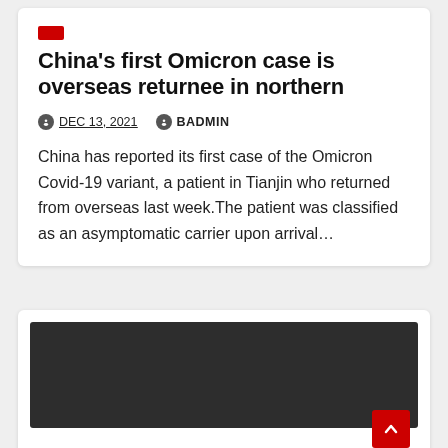China's first Omicron case is overseas returnee in northern
DEC 13, 2021   BADMIN
China has reported its first case of the Omicron Covid-19 variant, a patient in Tianjin who returned from overseas last week.The patient was classified as an asymptomatic carrier upon arrival…
[Figure (photo): Dark/black image block, likely a video thumbnail or photo placeholder]